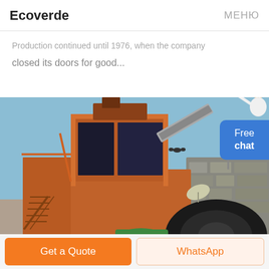Ecoverde   МЕНЮ
Production continued until 1976, when the company closed its doors for good...
[Figure (photo): Large industrial mining or aggregate processing machine with orange steel structure, conveyor belts, staircases, against a blue sky. A large black tire and stone wall visible in the foreground/background.]
Free chat
Get a Quote
WhatsApp